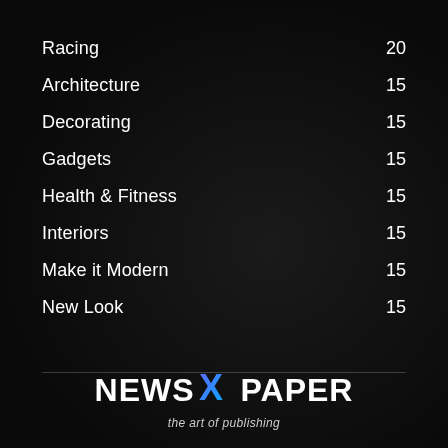Racing  20
Architecture  15
Decorating  15
Gadgets  15
Health & Fitness  15
Interiors  15
Make it Modern  15
New Look  15
NEWS X PAPER
the art of publishing